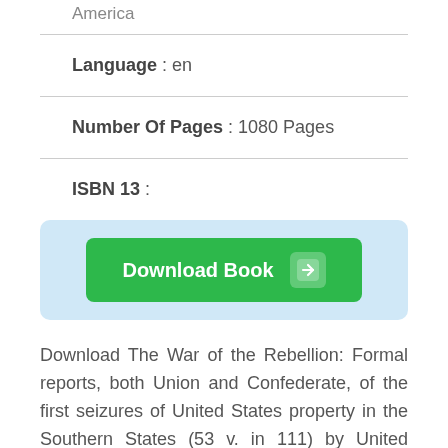America
Language : en
Number Of Pages : 1080 Pages
ISBN 13 :
[Figure (other): A light blue rounded box containing a green 'Download Book' button with a right arrow icon]
Download The War of the Rebellion: Formal reports, both Union and Confederate, of the first seizures of United States property in the Southern States (53 v. in 111) by United States. War Department in PDF Full Free and published by . This book was released